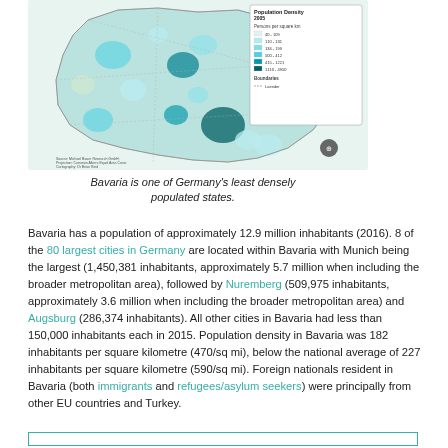[Figure (map): Choropleth map of Bavaria showing Population Density 2005 in persons per square km, with legend showing ranges from 40-109 (lightest) to 1110-4950 (darkest blue), and boundaries legend.]
Bavaria is one of Germany's least densely populated states.
Bavaria has a population of approximately 12.9 million inhabitants (2016). 8 of the 80 largest cities in Germany are located within Bavaria with Munich being the largest (1,450,381 inhabitants, approximately 5.7 million when including the broader metropolitan area), followed by Nuremberg (509,975 inhabitants, approximately 3.6 million when including the broader metropolitan area) and Augsburg (286,374 inhabitants). All other cities in Bavaria had less than 150,000 inhabitants each in 2015. Population density in Bavaria was 182 inhabitants per square kilometre (470/sq mi), below the national average of 227 inhabitants per square kilometre (590/sq mi). Foreign nationals resident in Bavaria (both immigrants and refugees/asylum seekers) were principally from other EU countries and Turkey.